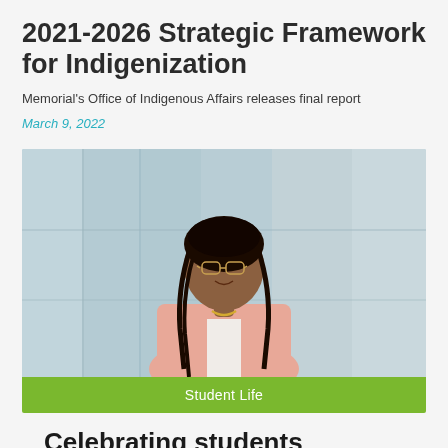2021-2026 Strategic Framework for Indigenization
Memorial's Office of Indigenous Affairs releases final report
March 9, 2022
[Figure (photo): Portrait photo of a young woman with braided hair, wearing glasses and a pink blazer, smiling in front of a blurred glass building interior background. Green bar at bottom reads 'Student Life'.]
Celebrating students